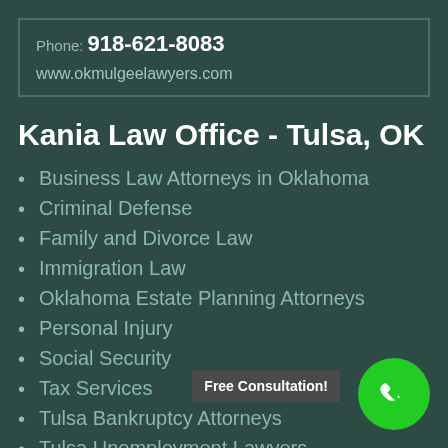Phone: 918-621-8083
www.okmulgeelawyers.com
Kania Law Office - Tulsa, OK
Business Law Attorneys in Oklahoma
Criminal Defense
Family and Divorce Law
Immigration Law
Oklahoma Estate Planning Attorneys
Personal Injury
Social Security
Tax Services
Tulsa Bankruptcy Attorneys
Tulsa Unemployment Lawyers
Free Consultation!